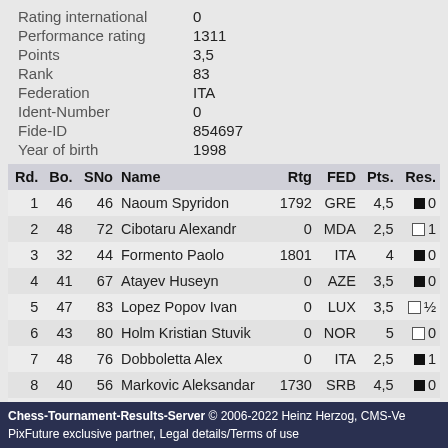Rating international 0
Performance rating 1311
Points 3,5
Rank 83
Federation ITA
Ident-Number 0
Fide-ID 854697
Year of birth 1998
| Rd. | Bo. | SNo | Name | Rtg | FED | Pts. | Res. |
| --- | --- | --- | --- | --- | --- | --- | --- |
| 1 | 46 | 46 | Naoum Spyridon | 1792 | GRE | 4,5 | ■ 0 |
| 2 | 48 | 72 | Cibotaru Alexandr | 0 | MDA | 2,5 | □ 1 |
| 3 | 32 | 44 | Formento Paolo | 1801 | ITA | 4 | ■ 0 |
| 4 | 41 | 67 | Atayev Huseyn | 0 | AZE | 3,5 | ■ 0 |
| 5 | 47 | 83 | Lopez Popov Ivan | 0 | LUX | 3,5 | □ ½ |
| 6 | 43 | 80 | Holm Kristian Stuvik | 0 | NOR | 5 | □ 0 |
| 7 | 48 | 76 | Dobboletta Alex | 0 | ITA | 2,5 | ■ 1 |
| 8 | 40 | 56 | Markovic Aleksandar | 1730 | SRB | 4,5 | ■ 0 |
| 9 | 47 | 70 | Bicer Sena Aksel | 0 | FIN | 2,5 | □ 1 |
Chess-Tournament-Results-Server © 2006-2022 Heinz Herzog, CMS-Ve PixFuture exclusive partner, Legal details/Terms of use